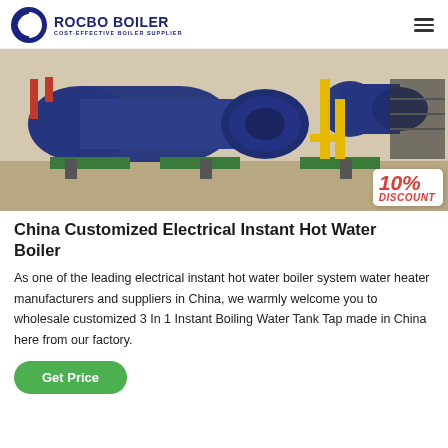ROCBO BOILER — COST-EFFECTIVE BOILER SUPPLIER
[Figure (photo): Industrial boiler room with large blue horizontal boilers, yellow gas pipes, and mechanical components on green bases inside a warehouse. A 10% DISCOUNT badge overlays the bottom-right corner.]
China Customized Electrical Instant Hot Water Boiler
As one of the leading electrical instant hot water boiler system water heater manufacturers and suppliers in China, we warmly welcome you to wholesale customized 3 In 1 Instant Boiling Water Tank Tap made in China here from our factory.
Get Price